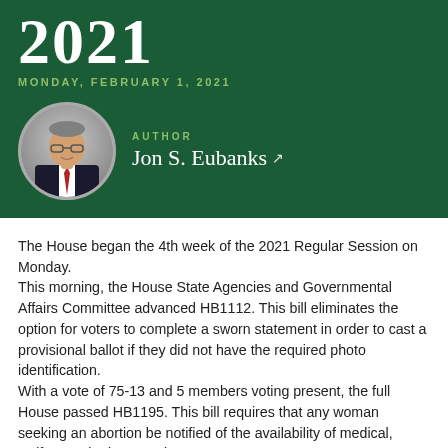2021
MONDAY, FEBRUARY 1, 2021
[Figure (photo): Circular headshot photo of Jon S. Eubanks, a man in a dark suit with a red tie, smiling, against a gray background.]
AUTHOR
Jon S. Eubanks
The House began the 4th week of the 2021 Regular Session on Monday.
This morning, the House State Agencies and Governmental Affairs Committee advanced HB1112. This bill eliminates the option for voters to complete a sworn statement in order to cast a provisional ballot if they did not have the required photo identification.
With a vote of 75-13 and 5 members voting present, the full House passed HB1195. This bill requires that any woman seeking an abortion be notified of the availability of medical, welfare and private assistance programs. It